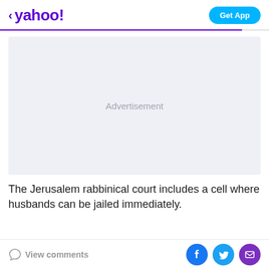yahoo! Get App
[Figure (other): Advertisement placeholder box with light gray background and centered text 'Advertisement']
The Jerusalem rabbinical court includes a cell where husbands can be jailed immediately.
View comments | Facebook share | Twitter share | Email share